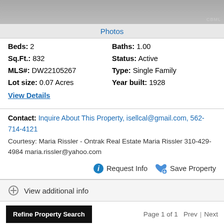[Figure (photo): Property photo (partially visible, gray/overcast)]
Photos
Beds: 2    Baths: 1.00
Sq.Ft.: 832    Status: Active
MLS#: DW22105267    Type: Single Family
Lot size: 0.07 Acres    Year built: 1928
View Details
Contact: Inquire About This Property, isellcal@gmail.com, 562-714-4121
Courtesy: Maria Rissler - Ontrak Real Estate Maria Rissler 310-429-4984 maria.rissler@yahoo.com
Request Info   Save Property
View additional info
Refine Property Search
Page 1 of 1   Prev | Next
1–6 of 6 properties displayed